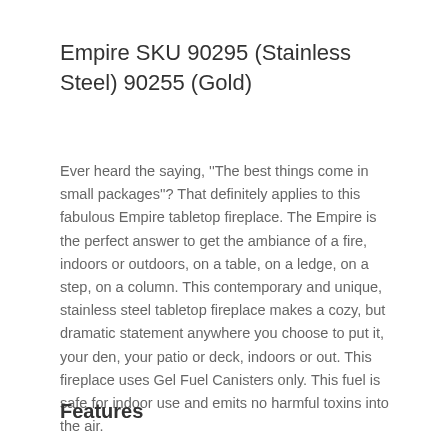Empire SKU 90295 (Stainless Steel) 90255 (Gold)
Ever heard the saying, ''The best things come in small packages''? That definitely applies to this fabulous Empire tabletop fireplace. The Empire is the perfect answer to get the ambiance of a fire, indoors or outdoors, on a table, on a ledge, on a step, on a column. This contemporary and unique, stainless steel tabletop fireplace makes a cozy, but dramatic statement anywhere you choose to put it, your den, your patio or deck, indoors or out. This fireplace uses Gel Fuel Canisters only. This fuel is safe for indoor use and emits no harmful toxins into the air.
Features